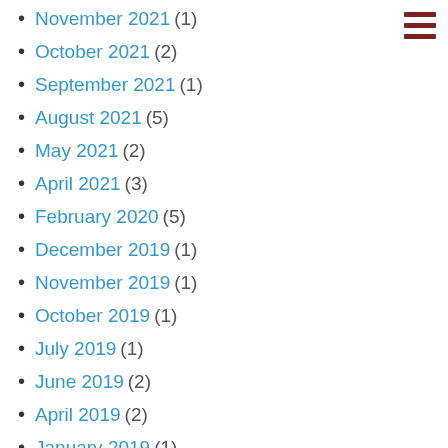November 2021 (1)
October 2021 (2)
September 2021 (1)
August 2021 (5)
May 2021 (2)
April 2021 (3)
February 2020 (5)
December 2019 (1)
November 2019 (1)
October 2019 (1)
July 2019 (1)
June 2019 (2)
April 2019 (2)
January 2019 (1)
December 2018 (1)
November 2018 (2)